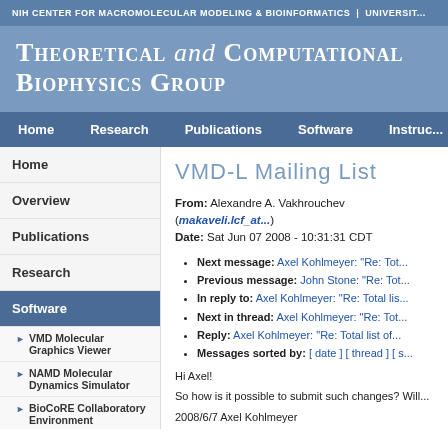NIH CENTER FOR MACROMOLECULAR MODELING & BIOINFORMATICS | UNIVERSIT...
Theoretical and Computational Biophysics Group
Home | Research | Publications | Software | Instruc...
VMD-L Mailing List
From: Alexandre A. Vakhrouchev (makaveli.lcf_at...)
Date: Sat Jun 07 2008 - 10:31:31 CDT
Next message: Axel Kohlmeyer: "Re: Tot...
Previous message: John Stone: "Re: Tot...
In reply to: Axel Kohlmeyer: "Re: Total lis...
Next in thread: Axel Kohlmeyer: "Re: Tot...
Reply: Axel Kohlmeyer: "Re: Total list of...
Messages sorted by: [ date ] [ thread ] [ s...
Hi Axel!
So how is it possible to submit such changes? Will...
2008/6/7 Axel Kohlmeyer <akohlmey_at_cmm.ch...
> On Sat, 7 Jun 2008, Alexandre A. Vakhrouchev...